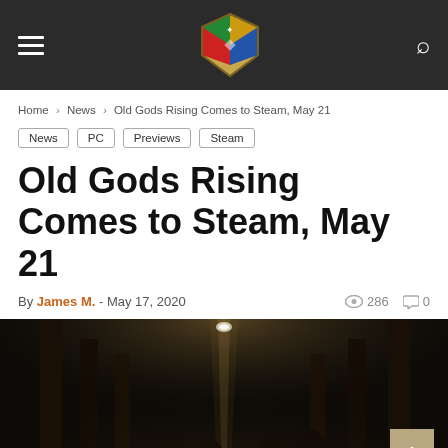The Indie Lodge — site header with hamburger menu, logo, and search icon
Home > News > Old Gods Rising Comes to Steam, May 21
News
PC
Previews
Steam
Old Gods Rising Comes to Steam, May 21
By James M. - May 17, 2020  286  0
[Figure (screenshot): Dark atmospheric game screenshot showing a dimly lit arched corridor or crypt, with beams of light coming from above illuminating dark robed figures or pillars in a gothic/horror setting.]